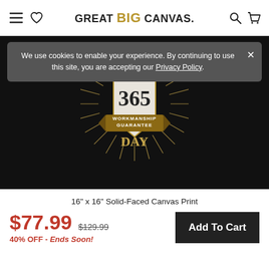GREAT BIG CANVAS
We use cookies to enable your experience. By continuing to use this site, you are accepting our Privacy Policy.
[Figure (illustration): 365 Day Workmanship Guarantee badge/seal on dark background with sunburst rays]
16" x 16" Solid-Faced Canvas Print
$77.99  $129.99  40% OFF - Ends Soon!  Add To Cart